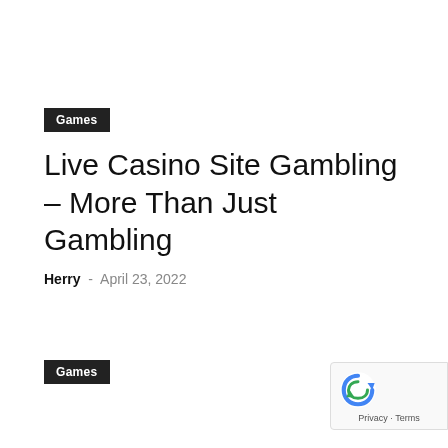Games
Live Casino Site Gambling – More Than Just Gambling
Herry  -  April 23, 2022
Games
[Figure (other): reCAPTCHA privacy badge with blue arrow logo, showing Privacy · Terms text]